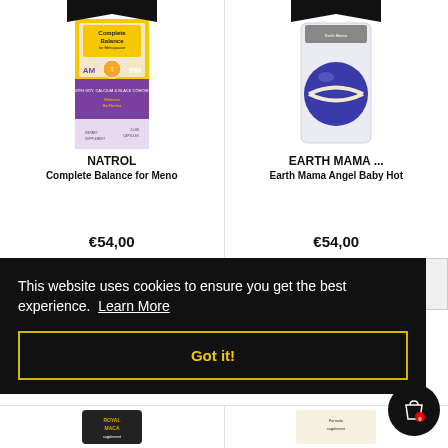[Figure (photo): Product photo of Natrol Complete Balance for Menopause supplement box (AM/PM), purple and yellow packaging]
NATROL
Complete Balance for Meno
€54,00
[Figure (photo): Product photo of Earth Mama Angel Baby Hot pack, blue ball in clear plastic packaging]
EARTH MAMA ...
Earth Mama Angel Baby Hot
€54,00
This website uses cookies to ensure you get the best experience.  Learn More
Got it!
[Figure (photo): Partial product image at bottom left, appears to be a supplement jar (Royal Maca)]
[Figure (photo): Partial product image at bottom right]